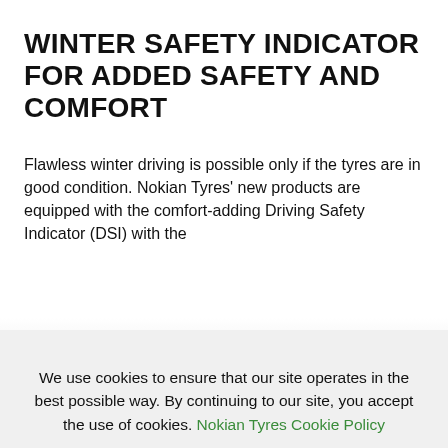WINTER SAFETY INDICATOR FOR ADDED SAFETY AND COMFORT
Flawless winter driving is possible only if the tyres are in good condition. Nokian Tyres' new products are equipped with the comfort-adding Driving Safety Indicator (DSI) with the…
We use cookies to ensure that our site operates in the best possible way. By continuing to our site, you accept the use of cookies. Nokian Tyres Cookie Policy
ACCEPT ALL
SHOW DETAILS